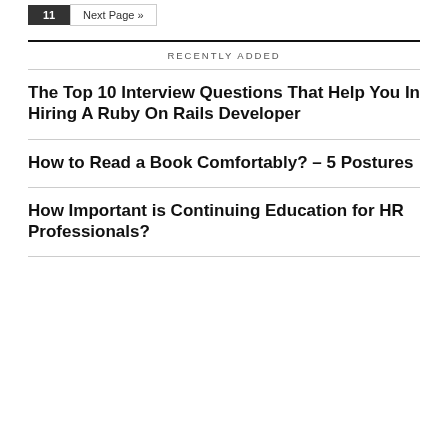11  Next Page »
RECENTLY ADDED
The Top 10 Interview Questions That Help You In Hiring A Ruby On Rails Developer
How to Read a Book Comfortably? – 5 Postures
How Important is Continuing Education for HR Professionals?